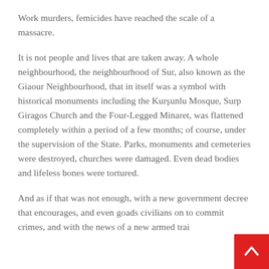Work murders, femicides have reached the scale of a massacre.
It is not people and lives that are taken away. A whole neighbourhood, the neighbourhood of Sur, also known as the Giaour Neighbourhood, that in itself was a symbol with historical monuments including the Kurşunlu Mosque, Surp Giragos Church and the Four-Legged Minaret, was flattened completely within a period of a few months; of course, under the supervision of the State. Parks, monuments and cemeteries were destroyed, churches were damaged. Even dead bodies and lifeless bones were tortured.
And as if that was not enough, with a new government decree that encourages, and even goads civilians on to commit crimes, and with the news of a new armed trai…